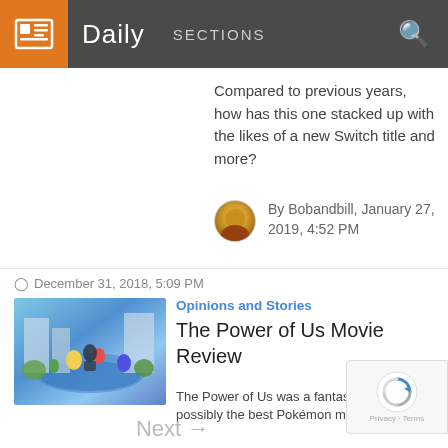Daily  SECTIONS
Compared to previous years, how has this one stacked up with the likes of a new Switch title and more?
By Bobandbill, January 27, 2019, 4:52 PM
December 31, 2018, 5:09 PM
Opinions and Stories
The Power of Us Movie Review
[Figure (photo): Pokemon movie scene thumbnail showing Pokemon characters in a colorful illustrated scene]
The Power of Us was a fantastic watch, and possibly the best Pokémon movie to date.
By Rivvon, December 31, 2018, 5:09 PM
Next →